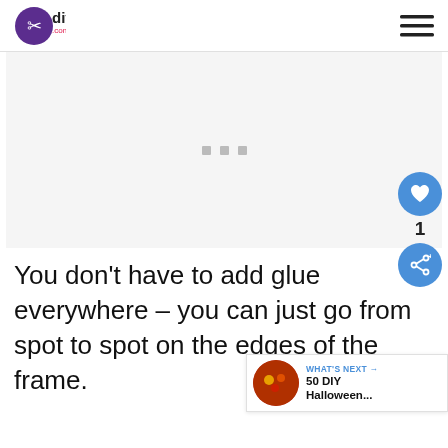diys.com
[Figure (other): Advertisement placeholder area with three small gray squares in the center]
You don't have to add glue everywhere – you can just go from spot to spot on the edges of the frame.
[Figure (other): "What's Next" widget showing a thumbnail image and text: WHAT'S NEXT → 50 DIY Halloween...]
[Figure (photo): Bottom strip showing partial preview of a DIY project image]